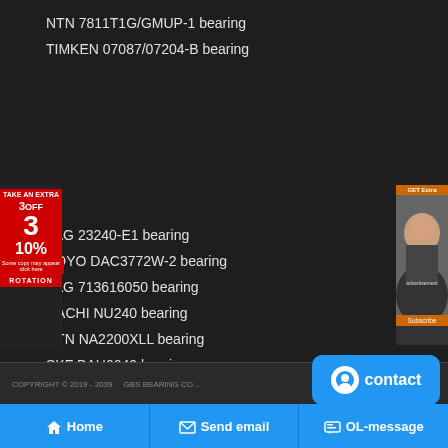NTN 7811T1G/GMUP-1 bearing
TIMKEN 07087/07204-B bearing
[Figure (infographic): Red advertisement banner on left side: TAKE AN EXTRA 3OFF 10% with rotation label]
[Figure (photo): Right side advertisement with woman photo and orange banner]
FAG 23240-E1 bearing
KOYO DAC3772W-2 bearing
FAG 713616050 bearing
NACHI NU240 bearing
NTN NA2200XLL bearing
SKF BAH0040 bearing
TIMKEN 02875/02823D X3S-02875 bearing
COPYRIGHT © 2019 - 2039   GBS BEARING CO...
contact
Home   Send email   OL-message